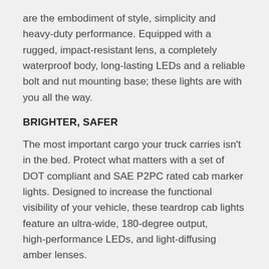are the embodiment of style, simplicity and heavy-duty performance. Equipped with a rugged, impact-resistant lens, a completely waterproof body, long-lasting LEDs and a reliable bolt and nut mounting base; these lights are with you all the way.
BRIGHTER, SAFER
The most important cargo your truck carries isn't in the bed. Protect what matters with a set of DOT compliant and SAE P2PC rated cab marker lights. Designed to increase the functional visibility of your vehicle, these teardrop cab lights feature an ultra-wide, 180-degree output, high-performance LEDs, and light-diffusing amber lenses.
SAVING TIME LIKE A PRO
Time spent off the road is time spent away from